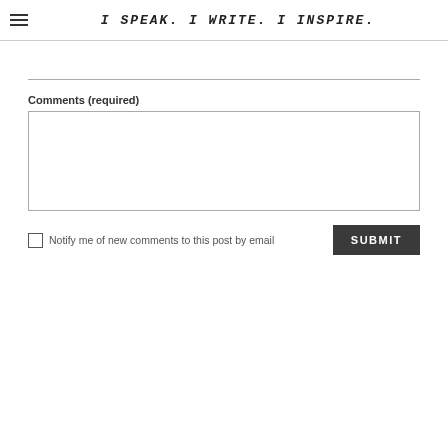I SPEAK. I WRITE. I INSPIRE.
Comments (required)
Notify me of new comments to this post by email
SUBMIT